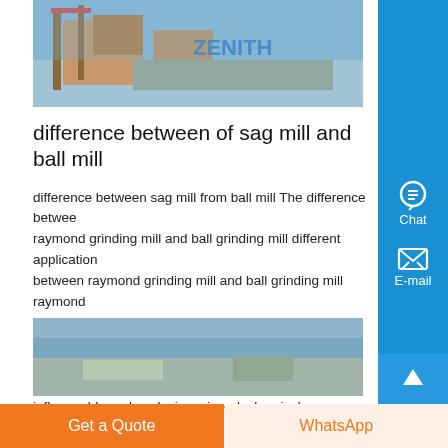[Figure (photo): Industrial facility with cranes and equipment, ZENITH branding visible]
difference between of sag mill and ball mill
difference between sag mill from ball mill The difference between raymond grinding mill and ball grinding mill different application between raymond grinding mill and ball grinding mill raymond grinding mill is widely used in the powder processing of material with mohs hardness less than , processing humidity is below in inflammable and explosive mineral, chemical...
Know More
[Figure (photo): Outdoor landscape/field photo with sky]
Get a Quote
WhatsApp